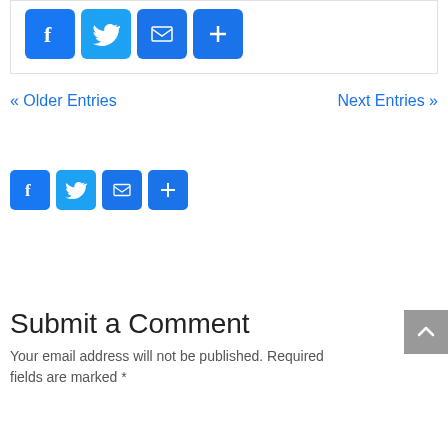[Figure (other): Social share buttons row (Facebook, Twitter, Email, Plus) inside a bordered box at top]
« Older Entries    Next Entries »
[Figure (other): Social share buttons row (Facebook, Twitter, Email, Plus) second instance]
Submit a Comment
Your email address will not be published. Required fields are marked *